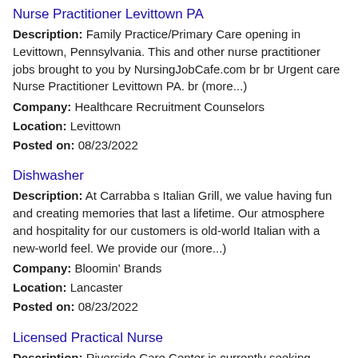Nurse Practitioner Levittown PA
Description: Family Practice/Primary Care opening in Levittown, Pennsylvania. This and other nurse practitioner jobs brought to you by NursingJobCafe.com br br Urgent care Nurse Practitioner Levittown PA. br (more...)
Company: Healthcare Recruitment Counselors
Location: Levittown
Posted on: 08/23/2022
Dishwasher
Description: At Carrabba s Italian Grill, we value having fun and creating memories that last a lifetime. Our atmosphere and hospitality for our customers is old-world Italian with a new-world feel. We provide our (more...)
Company: Bloomin' Brands
Location: Lancaster
Posted on: 08/23/2022
Licensed Practical Nurse
Description: Riverside Care Center is currently seeking Licensed Practical Nurses LPNs Graduate Practical Nurses GPNs NOW OFFERING A TUITION REIMBURMSENT PROGRAM APPLY TODAY TO LEARN ABOUT OUR NEWLY (more...)